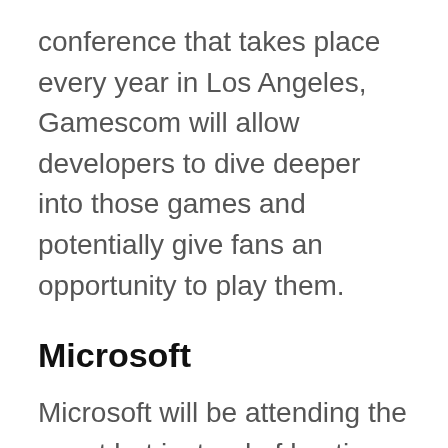conference that takes place every year in Los Angeles, Gamescom will allow developers to dive deeper into those games and potentially give fans an opportunity to play them.
Microsoft
Microsoft will be attending the event but instead of hosting a physical conference, the company will stream an announcement on August 21 at 4:30 pm UK time for Xbox.com, Mixer, Twitch, YouTube, Facebook and Twitter.
Sadly, the company haven't revealed what the stream will be about. However, it's also